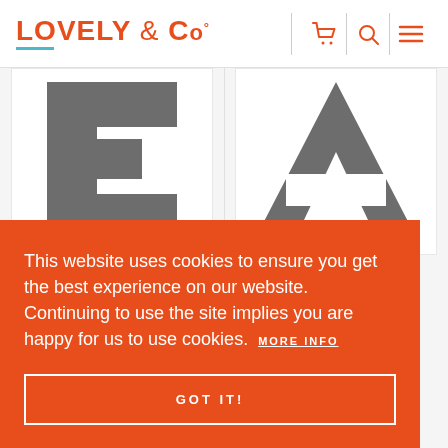LOVELY & Co
[Figure (illustration): Letter E print product image - large grey letter E on white background]
LETTER "E" PRINT
[Figure (illustration): Letter A print product image - large grey letter A on white background]
LETTER "A" PRINT
This website uses cookies to ensure you get the best experience on our website. Continuing to use the site implies you are happy for us to use cookies. MORE INFO
GOT IT!